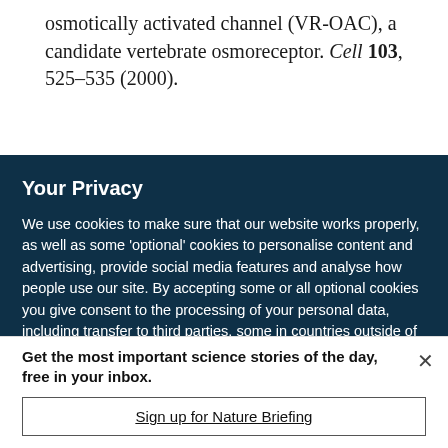osmotically activated channel (VR-OAC), a candidate vertebrate osmoreceptor. Cell 103, 525–535 (2000).
Your Privacy
We use cookies to make sure that our website works properly, as well as some 'optional' cookies to personalise content and advertising, provide social media features and analyse how people use our site. By accepting some or all optional cookies you give consent to the processing of your personal data, including transfer to third parties, some in countries outside of the European Economic Area that do not offer the same data protection standards as the country where you live. You can decide which optional cookies to accept by clicking on 'Manage Settings', where you can
Get the most important science stories of the day, free in your inbox.
Sign up for Nature Briefing